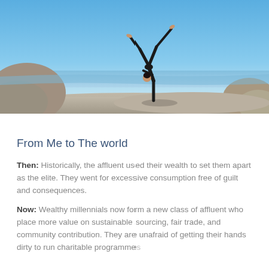[Figure (photo): A woman in black athletic wear performing a yoga/acrobatic pose (one-handed handstand with legs split) on rocky terrain by the ocean, with a clear blue sky in the background.]
From Me to The world
Then: Historically, the affluent used their wealth to set them apart as the elite. They went for excessive consumption free of guilt and consequences.
Now: Wealthy millennials now form a new class of affluent who place more value on sustainable sourcing, fair trade, and community contribution. They are unafraid of getting their hands dirty to run charitable programmes.